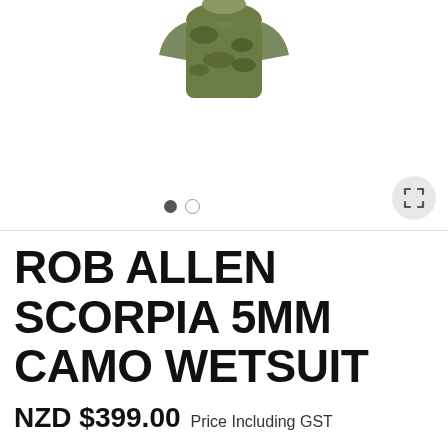[Figure (photo): Partial view of a Rob Allen Scorpia 5mm Camo Wetsuit top on a model, cropped at the shoulders/chest, shown against a white background. Carousel navigation dots (one filled, one empty) visible at bottom center. Expand/fullscreen button at bottom right.]
ROB ALLEN SCORPIA 5MM CAMO WETSUIT
NZD $399.00 Price Including GST